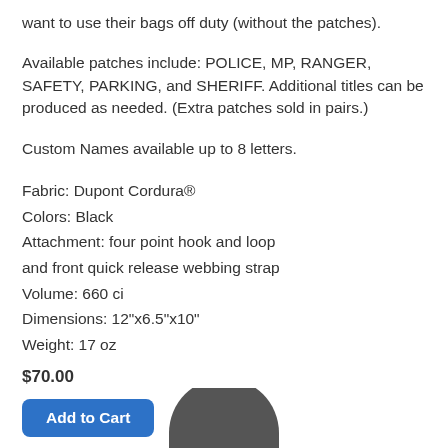want to use their bags off duty (without the patches).
Available patches include: POLICE, MP, RANGER, SAFETY, PARKING, and SHERIFF. Additional titles can be produced as needed. (Extra patches sold in pairs.)
Custom Names available up to 8 letters.
Fabric: Dupont Cordura®
Colors: Black
Attachment: four point hook and loop and front quick release webbing strap
Volume: 660 ci
Dimensions: 12"x6.5"x10"
Weight: 17 oz
$70.00
[Figure (other): Partial view of a black bag at the bottom of the page]